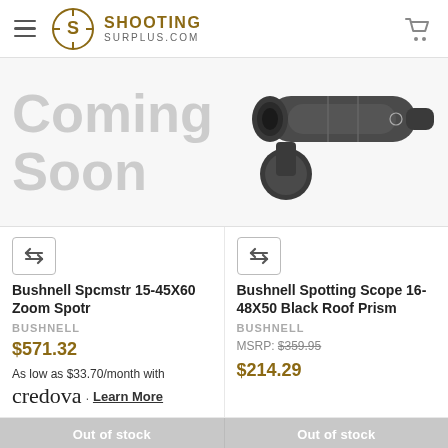SHOOTING SURPLUS.COM
[Figure (screenshot): Coming Soon banner with scope/spotting scope image on the right]
[Figure (other): Compare icon button for product 1]
Bushnell Spcmstr 15-45X60 Zoom Spotr
BUSHNELL
$571.32
As low as $33.70/month with credova . Learn More
[Figure (other): Compare icon button for product 2]
Bushnell Spotting Scope 16-48X50 Black Roof Prism
BUSHNELL
MSRP: $359.95
$214.29
Out of stock
Out of stock